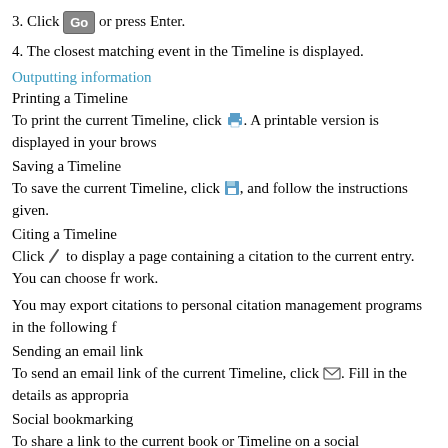3. Click Go or press Enter.
4. The closest matching event in the Timeline is displayed.
Outputting information
Printing a Timeline
To print the current Timeline, click [printer icon]. A printable version is displayed in your brows
Saving a Timeline
To save the current Timeline, click [save icon], and follow the instructions given.
Citing a Timeline
Click [pencil icon] to display a page containing a citation to the current entry. You can choose fr work.
You may export citations to personal citation management programs in the following f
Sending an email link
To send an email link of the current Timeline, click [email icon]. Fill in the details as appropria
Social bookmarking
To share a link to the current book or Timeline on a social bookmarking site (e.g. Face
Changing text size
Loading [MathJax]/jax/input/MathML/config.js  large text use the A A buttons.